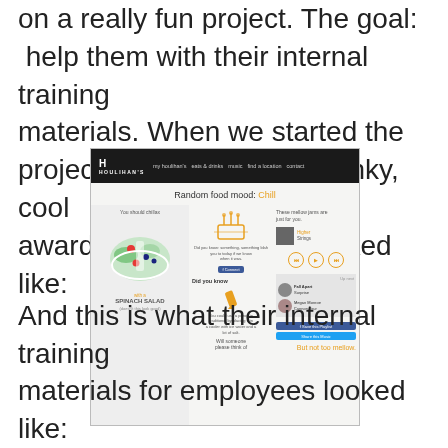on a really fun project. The goal: help them with their internal training materials. When we started the project, this is what their funky, cool award-winning website looked like:
[Figure (screenshot): Screenshot of Houlihan's restaurant website showing a 'Random food mood: Chill' page with a spinach salad, music player, and social sharing features]
And this is what their internal training materials for employees looked like: